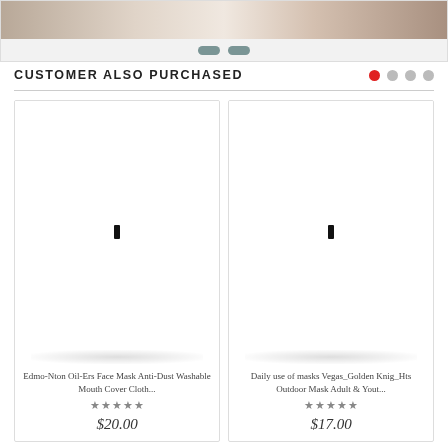[Figure (photo): Top partial product image with brown/beige tones, cropped at top]
[Figure (infographic): Navigation pills/dots row in gray on light background]
CUSTOMER ALSO PURCHASED
[Figure (photo): Product card: Edmo-Nton Oil-Ers Face Mask Anti-Dust Washable Mouth Cover Cloth... with 5-star rating and price $20.00]
[Figure (photo): Product card: Daily use of masks Vegas_Golden Knig_Hts Outdoor Mask Adult & Yout... with 5-star rating and price $17.00]